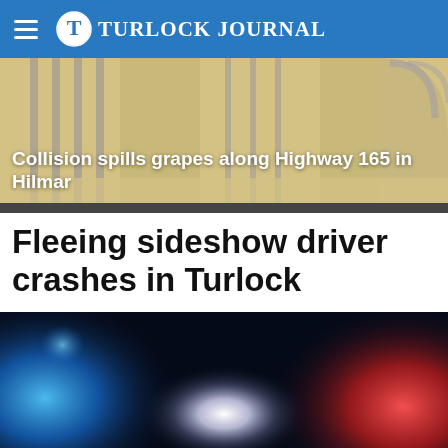Turlock Journal
[Figure (illustration): Top-down map illustration of a road intersection with tan/beige road surface and gray lane markings]
Collision spills grapes along Highway 165 in Hilmar
Fleeing sideshow driver crashes in Turlock
[Figure (photo): Close-up photo of police car emergency lights at night — blue lights on the left, red lights on the right, with a bright white glare in the center]